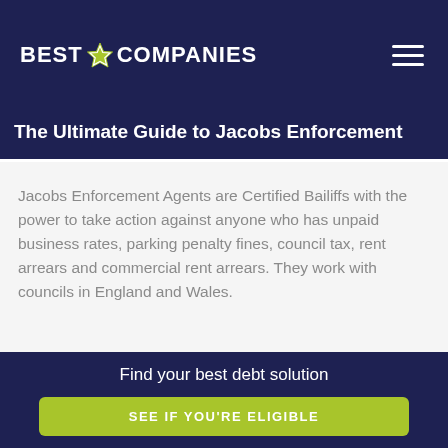BEST COMPANIES
The Ultimate Guide to Jacobs Enforcement
Jacobs Enforcement Agents are Certified Bailiffs with the power to take action against anyone who has unpaid business rates, parking penalty fines, council tax, rent arrears and commercial rent arrears. They work with councils in England and Wales.
Find your best debt solution
SEE IF YOU'RE ELIGIBLE